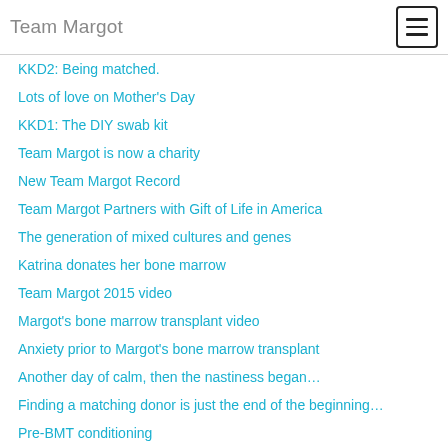Team Margot
KKD2: Being matched.
Lots of love on Mother's Day
KKD1: The DIY swab kit
Team Margot is now a charity
New Team Margot Record
Team Margot Partners with Gift of Life in America
The generation of mixed cultures and genes
Katrina donates her bone marrow
Team Margot 2015 video
Margot's bone marrow transplant video
Anxiety prior to Margot's bone marrow transplant
Another day of calm, then the nastiness began…
Finding a matching donor is just the end of the beginning…
Pre-BMT conditioning